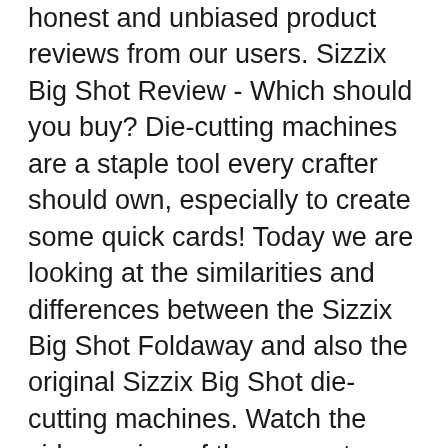honest and unbiased product reviews from our users. Sizzix Big Shot Review - Which should you buy? Die-cutting machines are a staple tool every crafter should own, especially to create some quick cards! Today we are looking at the similarities and differences between the Sizzix Big Shot Foldaway and also the original Sizzix Big Shot die-cutting machines. Watch the video review of these great
11/04/2018B B· Learn the differences between these two great Big Shot machines in our product review and comparison on the Sizzix Foldaway & Sizzix Big Shot. Sizzix die-cutting machines are a staple tool every